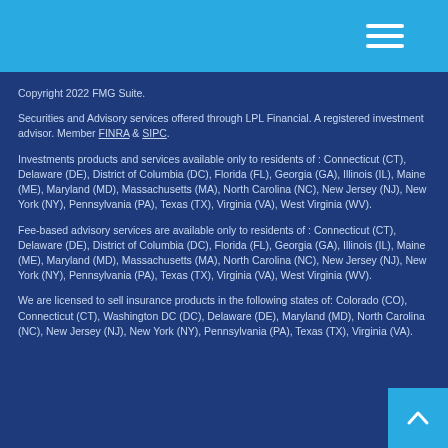Copyright 2022 FMG Suite.
Securities and Advisory services offered through LPL Financial. A registered investment advisor. Member FINRA & SIPC.
Investments products and services available only to residents of : Connecticut (CT), Delaware (DE), District of Columbia (DC), Florida (FL), Georgia (GA), Illinois (IL), Maine (ME), Maryland (MD), Massachusetts (MA), North Carolina (NC), New Jersey (NJ), New York (NY), Pennsylvania (PA), Texas (TX), Virginia (VA), West Virginia (WV).
Fee-based advisory services are available only to residents of : Connecticut (CT), Delaware (DE), District of Columbia (DC), Florida (FL), Georgia (GA), Illinois (IL), Maine (ME), Maryland (MD), Massachusetts (MA), North Carolina (NC), New Jersey (NJ), New York (NY), Pennsylvania (PA), Texas (TX), Virginia (VA), West Virginia (WV).
We are licensed to sell insurance products in the following states of: Colorado (CO), Connecticut (CT), Washington DC (DC), Delaware (DE), Maryland (MD), North Carolina (NC), New Jersey (NJ), New York (NY), Pennsylvania (PA), Texas (TX), Virginia (VA).